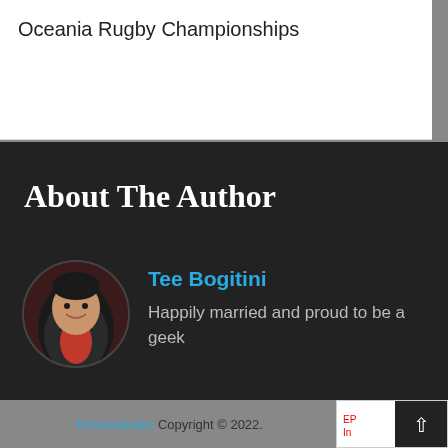Oceania Rugby Championships
About The Author
[Figure (photo): Circular portrait photo of author Tee Bogitini, a man in a dark jacket and red shirt, smiling]
Tee Bogitini
Happily married and proud to be a geek
Dromuninuku Copyright © 2022.